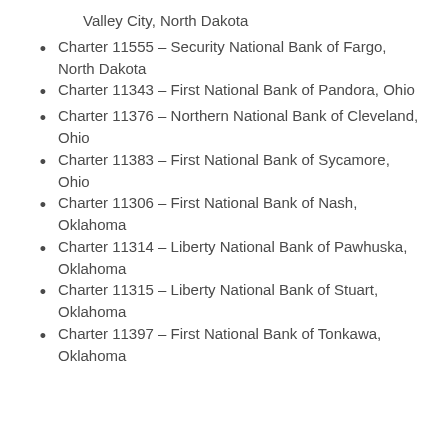Valley City, North Dakota
Charter 11555 – Security National Bank of Fargo, North Dakota
Charter 11343 – First National Bank of Pandora, Ohio
Charter 11376 – Northern National Bank of Cleveland, Ohio
Charter 11383 – First National Bank of Sycamore, Ohio
Charter 11306 – First National Bank of Nash, Oklahoma
Charter 11314 – Liberty National Bank of Pawhuska, Oklahoma
Charter 11315 – Liberty National Bank of Stuart, Oklahoma
Charter 11397 – First National Bank of Tonkawa, Oklahoma